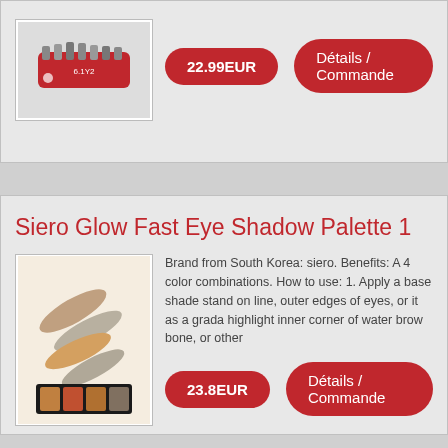[Figure (photo): Red screwdriver set product image]
22.99EUR
Détails / Commande
Siero Glow Fast Eye Shadow Palette 1
[Figure (photo): Siero eye shadow palette with swatches in shades of brown, orange, and grey]
Brand from South Korea: siero. Benefits: A 4 color combinations. How to use: 1. Apply a base shade stand on line, outer edges of eyes, or it as a grada highlight inner corner of water brow bone, or other
23.8EUR
Détails / Commande
Shirtinator Tippin Mater Pixar Cars : Qu